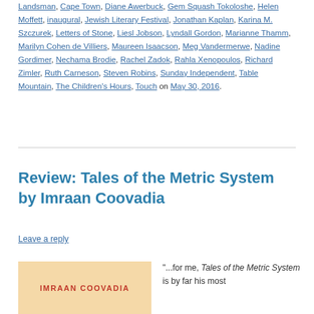Landsman, Cape Town, Diane Awerbuck, Gem Squash Tokoloshe, Helen Moffett, inaugural, Jewish Literary Festival, Jonathan Kaplan, Karina M. Szczurek, Letters of Stone, Liesl Jobson, Lyndall Gordon, Marianne Thamm, Marilyn Cohen de Villiers, Maureen Isaacson, Meg Vandermerwe, Nadine Gordimer, Nechama Brodie, Rachel Zadok, Rahla Xenopoulos, Richard Zimler, Ruth Carneson, Steven Robins, Sunday Independent, Table Mountain, The Children's Hours, Touch on May 30, 2016.
Review: Tales of the Metric System by Imraan Coovadia
Leave a reply
[Figure (illustration): Book cover with peach/tan background and red bold text reading IMRAAN COOVADIA]
“...for me, Tales of the Metric System is by far his most